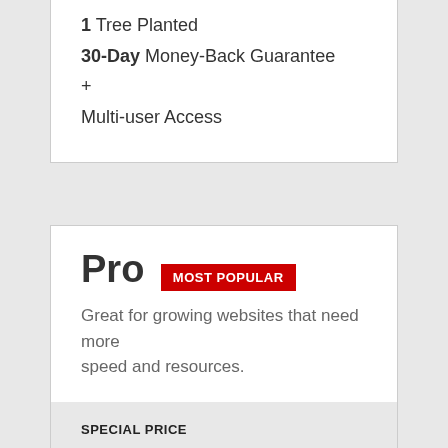1 Tree Planted
30-Day Money-Back Guarantee
+ Multi-user Access
Pro  MOST POPULAR
Great for growing websites that need more speed and resources.
SPECIAL PRICE
$4.95/month